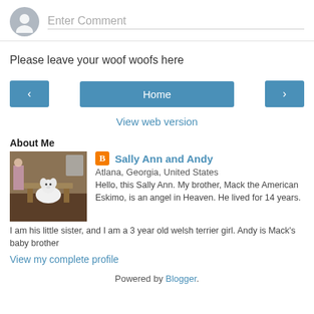Enter Comment
Please leave your woof woofs here
‹  Home  ›
View web version
About Me
[Figure (photo): Profile photo showing a dog (white fluffy dog) in a room with furniture]
Sally Ann and Andy
Atlana, Georgia, United States
Hello, this Sally Ann. My brother, Mack the American Eskimo, is an angel in Heaven. He lived for 14 years. I am his little sister, and I am a 3 year old welsh terrier girl. Andy is Mack's baby brother
View my complete profile
Powered by Blogger.